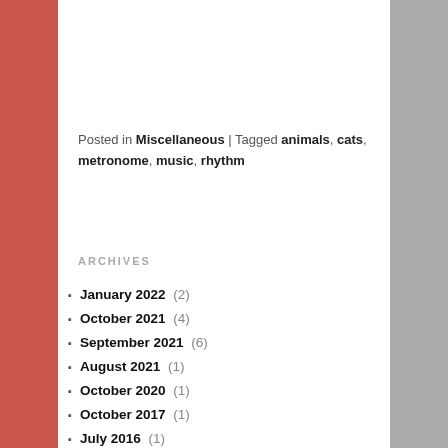Posted in Miscellaneous | Tagged animals, cats, metronome, music, rhythm
ARCHIVES
January 2022 (2)
October 2021 (4)
September 2021 (6)
August 2021 (1)
October 2020 (1)
October 2017 (1)
July 2016 (1)
April 2016 (2)
November 2015 (1)
August 2015 (1)
June 2015 (2)
May 2015 (2)
January 2015 (9)